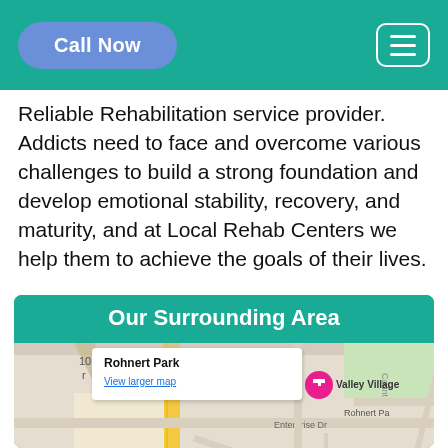Call Now | (hamburger menu)
Reliable Rehabilitation service provider. Addicts need to face and overcome various challenges to build a strong foundation and develop emotional stability, recovery, and maturity, and at Local Rehab Centers we help them to achieve the goals of their lives.
Our Surrounding Area
[Figure (map): Google Map showing Rohnert Park area with a popup tooltip reading 'Rohnert Park / View larger map', a pink location pin labeled 'Valley Village', street labels including Enterprise Dr, Rohnert Pa, Rancho Cot High Sch, and red text 'Rohnert Park' at the bottom center.]